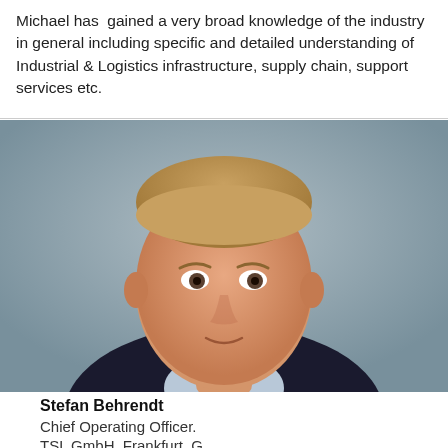Michael has gained a very broad knowledge of the industry in general including specific and detailed understanding of Industrial & Logistics infrastructure, supply chain, support services etc.
[Figure (photo): Professional headshot of Stefan Behrendt, a middle-aged man with short light brown hair wearing a dark suit jacket and a light blue checked shirt, photographed against a grey background.]
Stefan Behrendt
Chief Operating Officer.
TSL GmbH, Frankfurt, G...